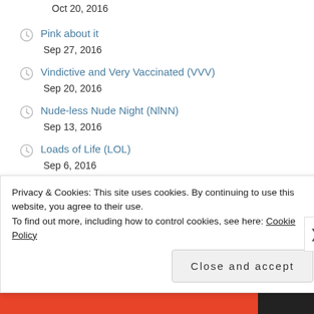Oct 20, 2016
Pink about it
Sep 27, 2016
Vindictive and Very Vaccinated (VVV)
Sep 20, 2016
Nude-less Nude Night (NlNN)
Sep 13, 2016
Loads of Life (LOL)
Sep 6, 2016
Freakin' out with Frank
Aug 16, 2016
Gesture Drawing and Opinion
Jul 18, 2016
Privacy & Cookies: This site uses cookies. By continuing to use this website, you agree to their use.
To find out more, including how to control cookies, see here: Cookie Policy
Close and accept